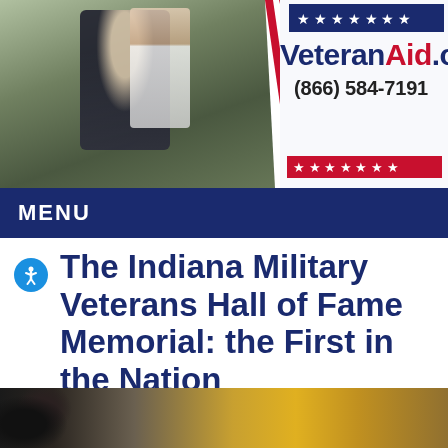[Figure (photo): Military person in uniform embracing someone, outdoor setting with trees]
VeteranAid.org (866) 584-7191
MENU
The Indiana Military Veterans Hall of Fame Memorial: the First in the Nation
Posted in on June 25, 2018
[Figure (photo): Close-up of military person holding something, with colorful flags in background]